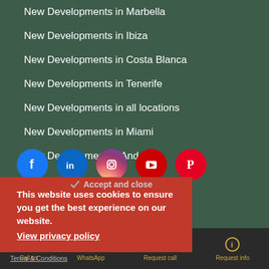New Developments in Marbella
New Developments in Ibiza
New Developments in Costa Blanca
New Developments in Tenerife
New Developments in all locations
New Developments in Miami
New Development in Andorra
[Figure (other): Social media icons: Facebook, LinkedIn, Instagram, YouTube, Pinterest]
This website uses cookies to ensure you get the best experience on our website. View privacy policy
Call us  WhatsApp  Request call  Request info